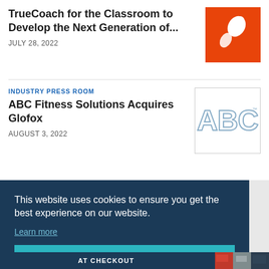TrueCoach for the Classroom to Develop the Next Generation of...
JULY 28, 2022
[Figure (logo): Orange square logo with white rocket/figure icon on orange background]
INDUSTRY PRESS ROOM
ABC Fitness Solutions Acquires Glofox
AUGUST 3, 2022
[Figure (logo): ABC Fitness Solutions logo - letters ABC in blue outline style on white background]
This website uses cookies to ensure you get the best experience on our website.
Learn more
Got it!
AT CHECKOUT